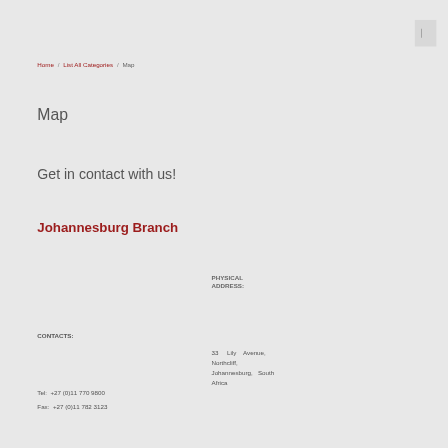☰
Home / List All Categories / Map
Map
Get in contact with us!
Johannesburg Branch
PHYSICAL ADDRESS:
CONTACTS:
33 Lily Avenue, Northcliff, Johannesburg, South Africa
Tel:  +27 (0)11 770 9800
Fax:  +27 (0)11 782 3123